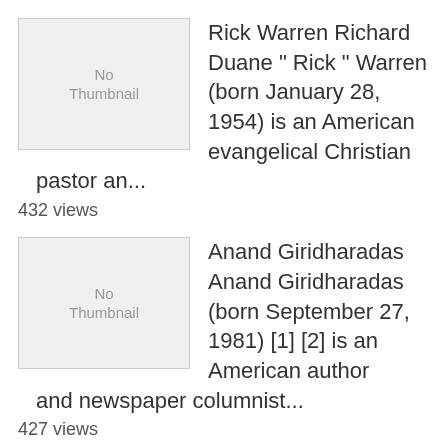Rick Warren Richard Duane " Rick " Warren (born January 28, 1954) is an American evangelical Christian pastor an...
432 views
Anand Giridharadas Anand Giridharadas (born September 27, 1981) [1] [2] is an American author and newspaper columnist...
427 views
Misha GLENNY Misha GLENNY (born 25 April 1958) is a British journalist who specializes in southeastern Europe , g...
432 views